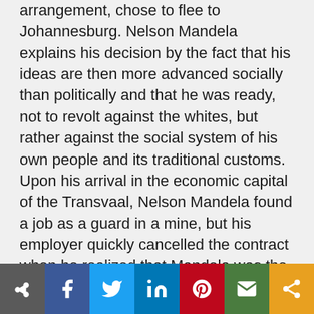arrangement, chose to flee to Johannesburg. Nelson Mandela explains his decision by the fact that his ideas are then more advanced socially than politically and that he was ready, not to revolt against the whites, but rather against the social system of his own people and its traditional customs. Upon his arrival in the economic capital of the Transvaal, Nelson Mandela found a job as a guard in a mine, but his employer quickly cancelled the contract when he realized that Mandela was the runaway adopted son of the regent. Nelson Mandela then works as a clerk in a law firm through his relationship with his friend and mentor Walter Sisulu. While working, Nelson Mandela completes
[Figure (other): Social media sharing bar with icons for generic share, Facebook, Twitter, LinkedIn, Pinterest, Email, and a general share button]